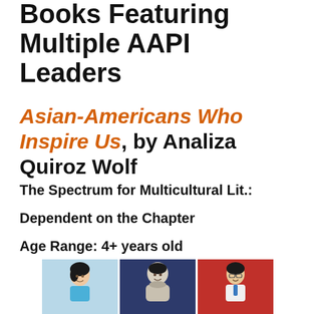Books Featuring Multiple AAPI Leaders
Asian-Americans Who Inspire Us, by Analiza Quiroz Wolf
The Spectrum for Multicultural Lit.:
Dependent on the Chapter
Age Range: 4+ years old
[Figure (illustration): Illustration showing three cartoon portraits of Asian-American leaders: a woman in a blue dress, a man in an astronaut suit, and a person in a white coat with glasses, against colored backgrounds (light blue, dark blue, red).]